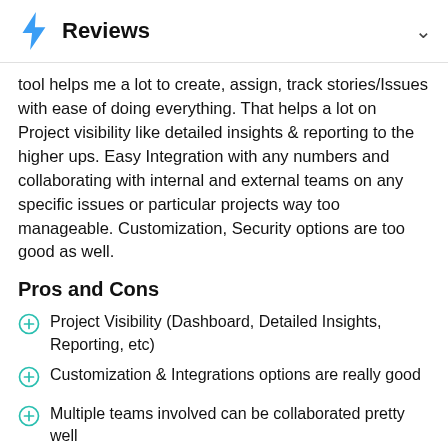Reviews
tool helps me a lot to create, assign, track stories/Issues with ease of doing everything. That helps a lot on Project visibility like detailed insights & reporting to the higher ups. Easy Integration with any numbers and collaborating with internal and external teams on any specific issues or particular projects way too manageable. Customization, Security options are too good as well.
Pros and Cons
Project Visibility (Dashboard, Detailed Insights, Reporting, etc)
Customization & Integrations options are really good
Multiple teams involved can be collaborated pretty well
Creating Stories/Issues, Tracking, Assigning, etc are